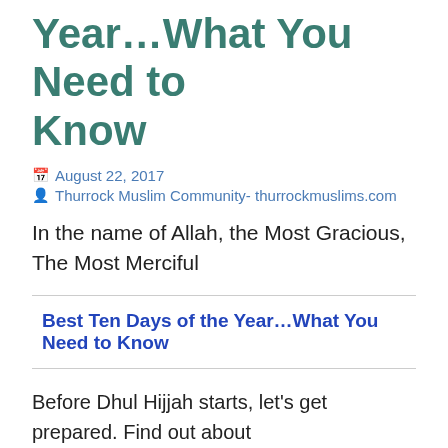Year…What You Need to Know
August 22, 2017
Thurrock Muslim Community- thurrockmuslims.com
In the name of Allah, the Most Gracious, The Most Merciful
Best Ten Days of the Year…What You Need to Know
Before Dhul Hijjah starts, let's get prepared. Find out about sacrifice/udhiyah/qurbani, Hajj, virtuous deeds, fasting and fasting on the day of Arafah, the takbeer, and